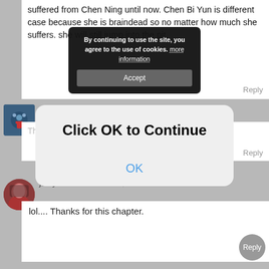suffered from Chen Ning until now. Chen Bi Yun is different case because she is braindead so no matter how much she suffers. she will still jump into the pit.
By continuing to use the site, you agree to the use of cookies. more information
Accept
Maki  DECEMBER 11, 2017 AT 6:24 AM
Thank you ❤️❤️❤️
Click OK to Continue
OK
Reply
joellyanne  DECEMBER 11, 2017 AT 6:22 AM
lol.... Thanks for this chapter.
Reply